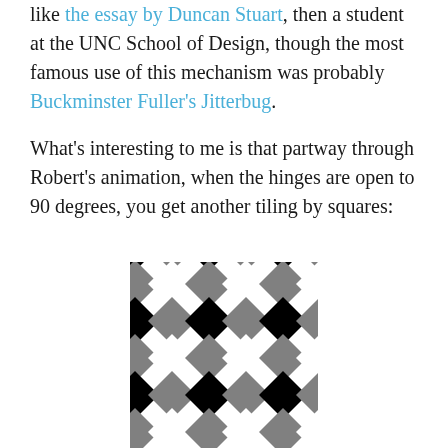like the essay by Duncan Stuart, then a student at the UNC School of Design, though the most famous use of this mechanism was probably Buckminster Fuller's Jitterbug.
What's interesting to me is that partway through Robert's animation, when the hinges are open to 90 degrees, you get another tiling by squares:
[Figure (illustration): A diagonal checkerboard tiling pattern made of squares rotated 45 degrees, using black, gray, and white squares arranged in a repeating geometric pattern.]